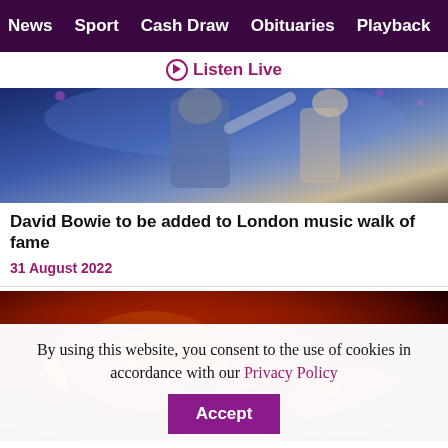News  Sport  Cash Draw  Obituaries  Playback  S
▶ Listen Live
[Figure (photo): Concert photo showing a performer on stage with blue/purple lighting and audience hands raised]
David Bowie to be added to London music walk of fame
31 August 2022
[Figure (photo): Macro photograph of organisms preserved in amber, showing reddish-orange background with small creatures visible]
By using this website, you consent to the use of cookies in accordance with our Privacy Policy  Accept